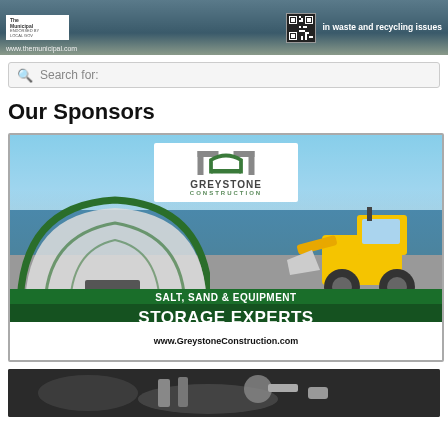[Figure (screenshot): Website banner for The Municipal showing logo, QR code, and text 'in waste and recycling issues' with URL www.themunicipal.com]
Search for:
Our Sponsors
[Figure (photo): Greystone Construction advertisement showing a dome storage structure with a yellow front-end loader. Text: SALT, SAND & EQUIPMENT STORAGE EXPERTS www.GreystoneConstruction.com]
[Figure (photo): Partial photo at bottom of page showing industrial/mechanical equipment]